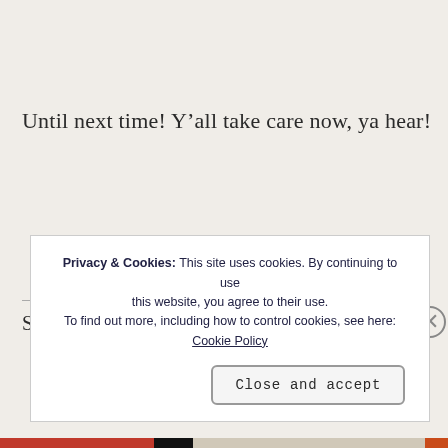Until next time! Y’all take care now, ya hear!
Privacy & Cookies: This site uses cookies. By continuing to use this website, you agree to their use. To find out more, including how to control cookies, see here: Cookie Policy
Close and accept